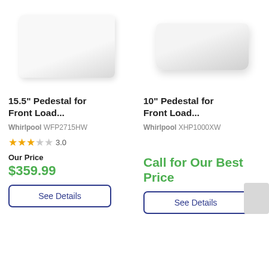[Figure (photo): White flat rectangular pedestal for front load washer/dryer (Whirlpool WFP2715HW), product photo on white background]
[Figure (photo): White thick rounded rectangular pedestal for front load washer/dryer (Whirlpool XHP1000XW), product photo on white background]
15.5" Pedestal for Front Load...
10" Pedestal for Front Load...
Whirlpool WFP2715HW
Whirlpool XHP1000XW
3.0
Our Price
$359.99
Call for Our Best Price
See Details
See Details